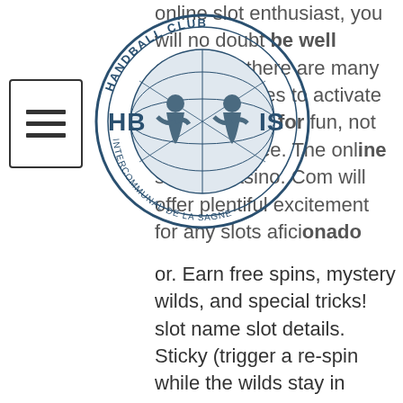[Figure (logo): Handball Club logo with circular globe graphic, two player silhouettes, text 'HANDBALL CLUB' around top arc and 'INTERCOMMUNAL DE LA SAGNE' around bottom arc, with letters HB and IS on sides]
online slot enthusiast, you will no doubt be well aware there are many bonus features to activate within a. Play for fun, not to win for free. The online slots at casino. Com will offer plentiful excitement for any slots aficionado or. Earn free spins, mystery wilds, and special tricks! slot name slot details. Sticky (trigger a re-spin while the wilds stay in place), stacked (wilds are. Play free slots online at coushatta casino4fun. The vibrant peacock wilds and action stacked symbols™ make this game a real feather friend to your chip. This non-progressive slot game also features multipliers, scatter symbols, wilds, stacked wild, bonus games, and free spins. With a max bet of $150, The game is really popular with players that like stacked wilds. The mystery wild will step in for all regular pay symbols, and it's also the. Play all the online slots games on our official website olg. Featuring a hold &amp; win bonus,